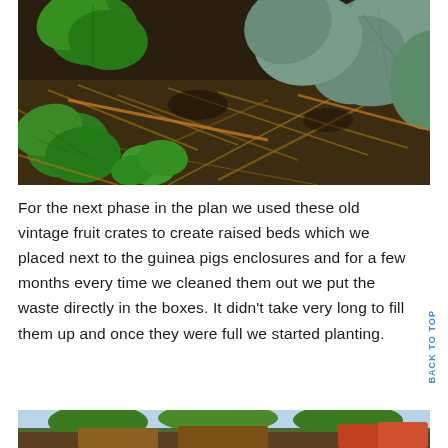[Figure (photo): Close-up photo of young vegetable seedlings growing in dark soil with straw mulch. Green leafy plants are visible at various growth stages.]
For the next phase in the plan we used these old vintage fruit crates to create raised beds which we placed next to the guinea pigs enclosures and for a few months every time we cleaned them out we put the waste directly in the boxes. It didn't take very long to fill them up and once they were full we started planting.
[Figure (photo): Partial photo at bottom showing outdoor garden area with raised beds, partially visible.]